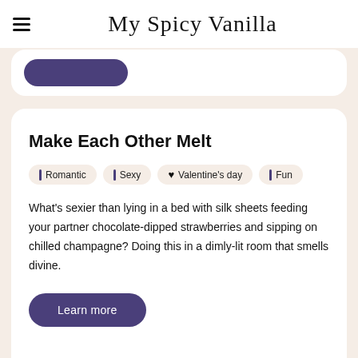My Spicy Vanilla
Make Each Other Melt
Romantic | Sexy | Valentine's day | Fun
What's sexier than lying in a bed with silk sheets feeding your partner chocolate-dipped strawberries and sipping on chilled champagne? Doing this in a dimly-lit room that smells divine.
Learn more